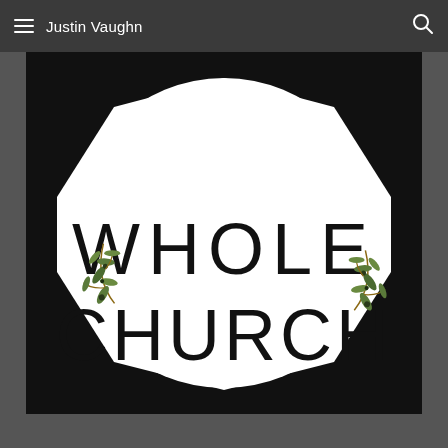Justin Vaughn
[Figure (logo): Whole Church logo: a white circle/octagon shape on black background with the text 'WHOLE' on top and 'CHURCH' below in thin sans-serif letters, flanked by two olive branch illustrations on the left and right sides.]